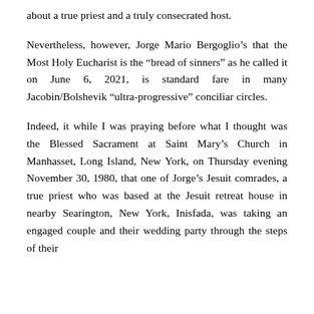about a true priest and a truly consecrated host.
Nevertheless, however, Jorge Mario Bergoglio’s that the Most Holy Eucharist is the “bread of sinners” as he called it on June 6, 2021, is standard fare in many Jacobin/Bolshevik “ultra-progressive” conciliar circles.
Indeed, it while I was praying before what I thought was the Blessed Sacrament at Saint Mary’s Church in Manhasset, Long Island, New York, on Thursday evening November 30, 1980, that one of Jorge’s Jesuit comrades, a true priest who was based at the Jesuit retreat house in nearby Searington, New York, Inisfada, was taking an engaged couple and their wedding party through the steps of their